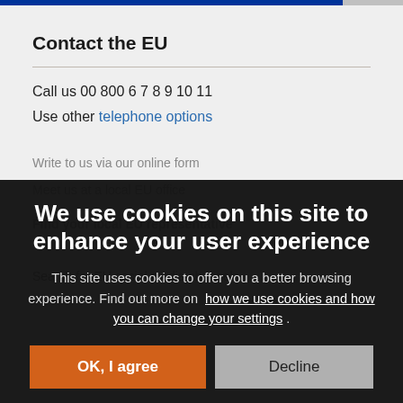Contact the EU
Call us 00 800 6 7 8 9 10 11
Use other telephone options
We use cookies on this site to enhance your user experience
This site uses cookies to offer you a better browsing experience. Find out more on how we use cookies and how you can change your settings .
OK, I agree
Decline
Search for EU social media channels
EU institutions